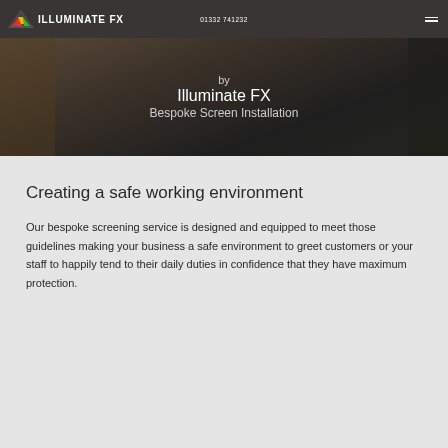01332 741232  ILLUMINATE FX
[Figure (photo): Dark interior scene showing text overlay: 'by Illuminate FX Bespoke Screen Installation']
Creating a safe working environment
Our bespoke screening service is designed and equipped to meet those guidelines making your business a safe environment to greet customers or your staff to happily tend to their daily duties in confidence that they have maximum protection.